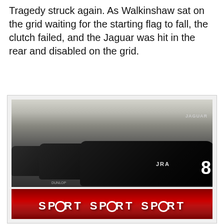Tragedy struck again. As Walkinshaw sat on the grid waiting for the starting flag to fall, the clutch failed, and the Jaguar was hit in the rear and disabled on the grid.
[Figure (photo): Three Jaguar XJS racing cars with JRA sponsorship livery lined up in a garage/pit area. The nearest car prominently displays number 8. A man stands in the background. The cars are dark colored with white lettering including JRA and Jaguar branding.]
[Figure (photo): Partial view of a red banner or pit lane signage showing the word SPORT repeated multiple times with a circular logo/target design replacing the letter O.]